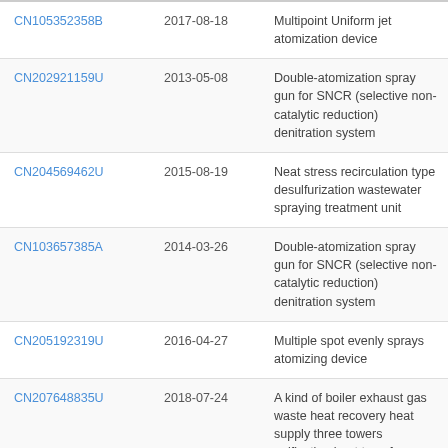| CN105352358B | 2017-08-18 | Multipoint Uniform jet atomization device |
| CN202921159U | 2013-05-08 | Double-atomization spray gun for SNCR (selective non-catalytic reduction) denitration system |
| CN204569462U | 2015-08-19 | Neat stress recirculation type desulfurization wastewater spraying treatment unit |
| CN103657385A | 2014-03-26 | Double-atomization spray gun for SNCR (selective non-catalytic reduction) denitration system |
| CN205192319U | 2016-04-27 | Multiple spot evenly sprays atomizing device |
| CN207648835U | 2018-07-24 | A kind of boiler exhaust gas waste heat recovery heat supply three towers unification heat transfer spray tower |